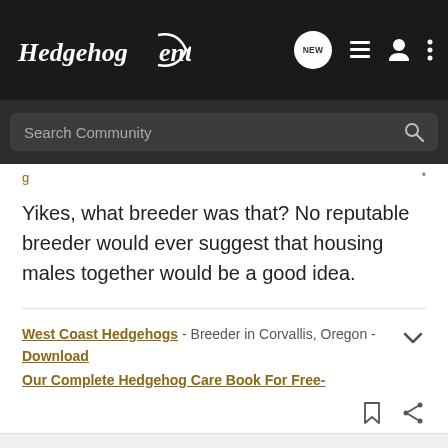Hedgehog Central
Yikes, what breeder was that? No reputable breeder would ever suggest that housing males together would be a good idea.
West Coast Hedgehogs - Breeder in Corvallis, Oregon -Download Our Complete Hedgehog Care Book For Free-
gyaku · Registered
Joined Jul 9, 2009 · 172 Posts